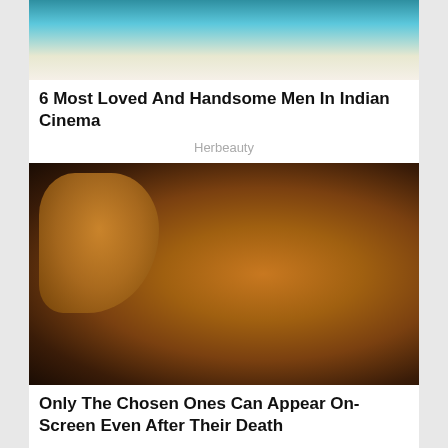[Figure (photo): Partial image of a person in a white floral shirt, cropped at the top]
6 Most Loved And Handsome Men In Indian Cinema
Herbeauty
[Figure (photo): Bruce Lee in action pose with hand extended toward camera, warm amber/orange tones]
Only The Chosen Ones Can Appear On-Screen Even After Their Death
Brainberries
[Figure (photo): Partial image at the bottom, green tones visible]